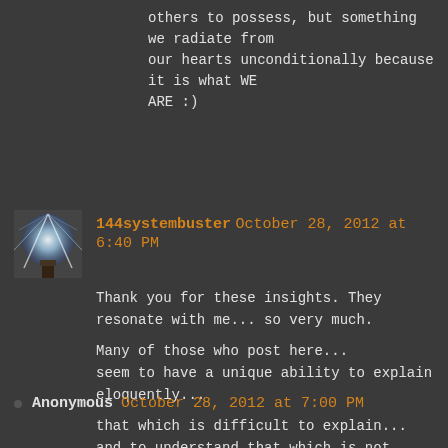others to possess, but something we radiate from our hearts unconditionally because it is what WE ARE :)
144systembuster October 28, 2012 at 6:40 PM
Thank you for these insights. They resonate with me... so very much.

Many of those who post here...
seem to have a unique ability to explain eloquently...

that which is difficult to explain...
and to understand that which is not easily understood.

Namaste
Anonymous October 28, 2012 at 7:00 PM